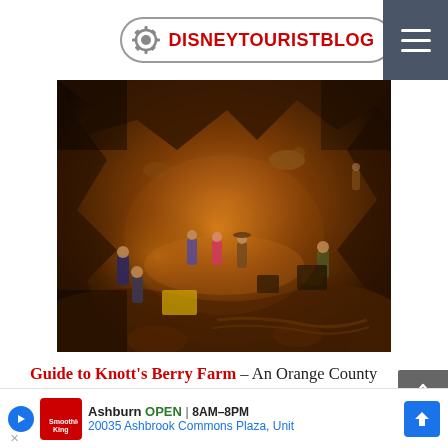DISNEYTOURISTBLOG
[Figure (photo): Indoor cave-themed venue with performers on a stage, dimly lit with warm orange/amber lighting. Multiple people can be seen performing on a stage area with cave-rock walls. Mine cart tracks visible on the lower right. Taken from an elevated angle looking down.]
Guide to Knott's Berry Farm – An Orange County institution that proudly proclaims itself as "America's 1st Theme Park." Really, Knott's is a tale of two theme parks.
It has ... seeker...